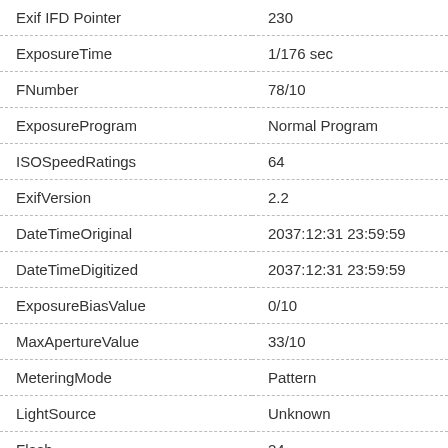| Field | Value |
| --- | --- |
| Exif IFD Pointer | 230 |
| ExposureTime | 1/176 sec |
| FNumber | 78/10 |
| ExposureProgram | Normal Program |
| ISOSpeedRatings | 64 |
| ExifVersion | 2.2 |
| DateTimeOriginal | 2037:12:31 23:59:59 |
| DateTimeDigitized | 2037:12:31 23:59:59 |
| ExposureBiasValue | 0/10 |
| MaxApertureValue | 33/10 |
| MeteringMode | Pattern |
| LightSource | Unknown |
| Flash | 24 |
| FocalLength | 12.708 mm |
| ColorSpace | sRGB |